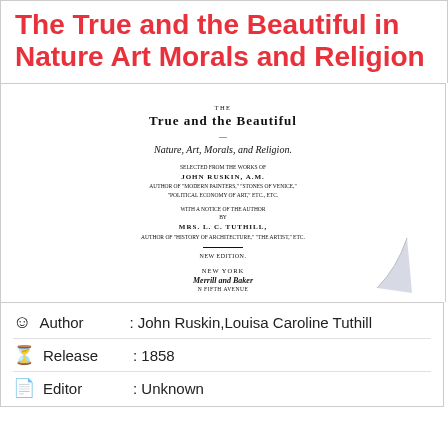The True and the Beautiful in Nature Art Morals and Religion
[Figure (photo): Scanned title page of the book 'The True and the Beautiful in Nature, Art, Morals and Religion' selected from the works of John Ruskin, A.M., with a notice of the author by Mrs. L. C. Tuthill. New York: Merrill and Baker. Shows a page curl at bottom right.]
| Author | : John Ruskin,Louisa Caroline Tuthill |
| Release | : 1858 |
| Editor | : Unknown |